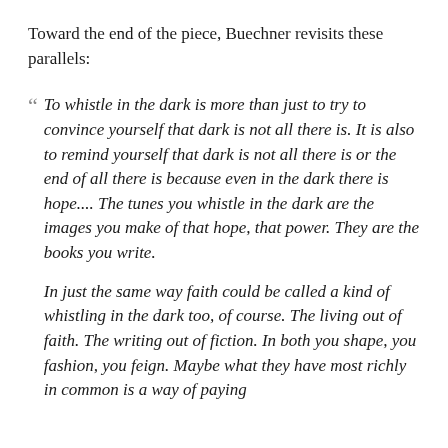Toward the end of the piece, Buechner revisits these parallels:
To whistle in the dark is more than just to try to convince yourself that dark is not all there is. It is also to remind yourself that dark is not all there is or the end of all there is because even in the dark there is hope.... The tunes you whistle in the dark are the images you make of that hope, that power. They are the books you write.

In just the same way faith could be called a kind of whistling in the dark too, of course. The living out of faith. The writing out of fiction. In both you shape, you fashion, you feign. Maybe what they have most richly in common is a way of paying